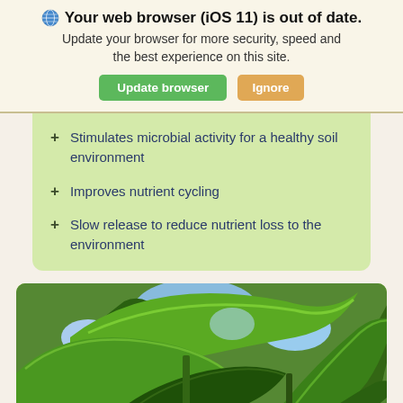Your web browser (iOS 11) is out of date. Update your browser for more security, speed and the best experience on this site.
Update browser | Ignore
Stimulates microbial activity for a healthy soil environment
Improves nutrient cycling
Slow release to reduce nutrient loss to the environment
[Figure (photo): Close-up photograph of green corn/maize plant leaves against a blue sky background]